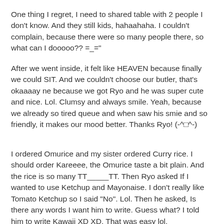One thing I regret, I need to shared table with 2 people I don't know. And they still kids, hahaahaha. I couldn't complain, because there were so many people there, so what can I dooooo?? =_="
After we went inside, it felt like HEAVEN because finally we could SIT. And we couldn't choose our butler, that's okaaaay ne because we got Ryo and he was super cute and nice. Lol. Clumsy and always smile. Yeah, because we already so tired queue and when saw his smie and so friendly, it makes our mood better. Thanks Ryo! (-^□^-)
I ordered Omurice and my sister ordered Curry rice. I should order Kareeee, the Omurice taste a bit plain. And the rice is so many TT_____TT. Then Ryo asked If I wanted to use Ketchup and Mayonaise. I don't really like Tomato Ketchup so I said "No". Lol. Then he asked, Is there any words I want him to write. Guess what? I told him to write Kawaii XD XD. That was easy lol.